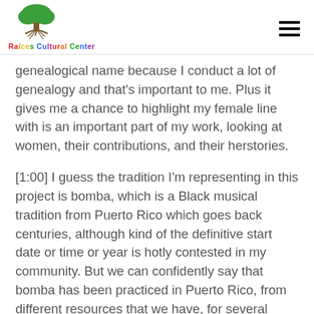Raíces Cultural Center
genealogical name because I conduct a lot of genealogy and that's important to me. Plus it gives me a chance to highlight my female line with is an important part of my work, looking at women, their contributions, and their herstories.
[1:00] I guess the tradition I'm representing in this project is bomba, which is a Black musical tradition from Puerto Rico which goes back centuries, although kind of the definitive start date or time or year is hotly contested in my community. But we can confidently say that bomba has been practiced in Puerto Rico, from different resources that we have, for several